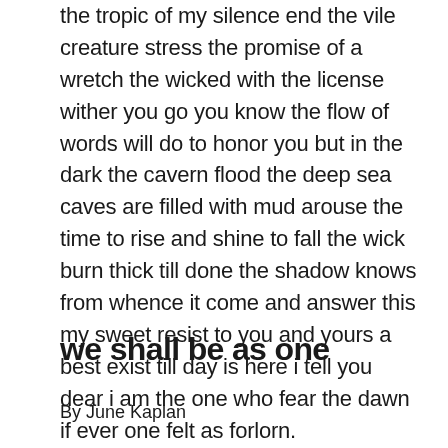the tropic of my silence end the vile creature stress the promise of a wretch the wicked with the license wither you go you know the flow of words will do to honor you but in the dark the cavern flood the deep sea caves are filled with mud arouse the time to rise and shine to fall the wick burn thick till done the shadow knows from whence it come and answer this my sweet resist to you and yours a best exist till day is here i tell you dear i am the one who fear the dawn if ever one felt as forlorn.
we shall be as one
By June Kaplan